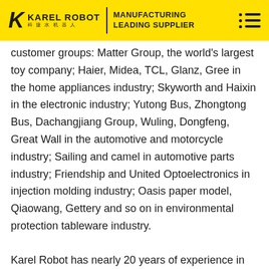KAREL ROBOT | MANUFACTURING LEADING SUPPLIER
customer groups: Matter Group, the world's largest toy company; Haier, Midea, TCL, Glanz, Gree in the home appliances industry; Skyworth and Haixin in the electronic industry; Yutong Bus, Zhongtong Bus, Dachangjiang Group, Wuling, Dongfeng, Great Wall in the automotive and motorcycle industry; Sailing and camel in automotive parts industry; Friendship and United Optoelectronics in injection molding industry; Oasis paper model, Qiaowang, Gettery and so on in environmental protection tableware industry.
Karel Robot has nearly 20 years of experience in automation equipment manufacturing. It attaches great